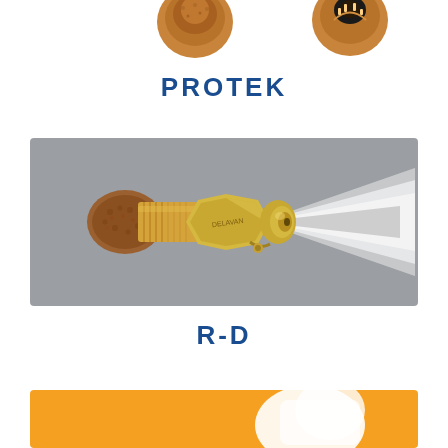[Figure (photo): Two small bronze/copper nozzle components shown from top, partial view at top of page]
PROTEK
[Figure (photo): R-D nozzle: a brass/gold threaded nozzle with brown sintered filter on left side and spray cone pattern shown to the right, on a gray background]
R-D
[Figure (photo): Bottom partial image showing an orange background with a white nozzle spray component, partially visible]